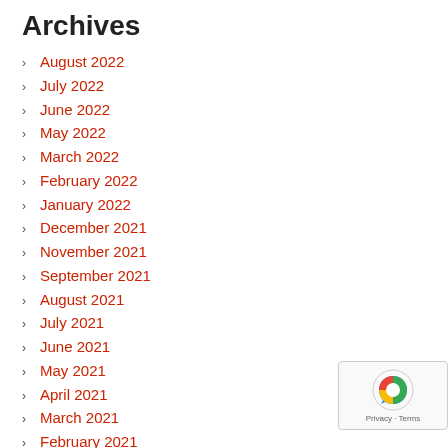Archives
August 2022
July 2022
June 2022
May 2022
March 2022
February 2022
January 2022
December 2021
November 2021
September 2021
August 2021
July 2021
June 2021
May 2021
April 2021
March 2021
February 2021
January 2021